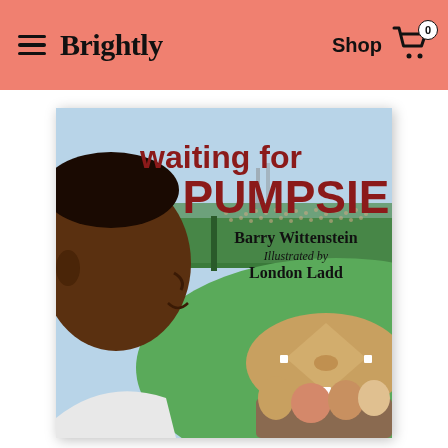Brightly  Shop
[Figure (illustration): Book cover of 'Waiting for Pumpsie' by Barry Wittenstein, illustrated by London Ladd. Shows a young Black boy cheering at a baseball stadium (Fenway Park), with a crowd and baseball diamond visible in the background. Bold red text reads 'waiting for PUMPSIE'. Author and illustrator credits below the title.]